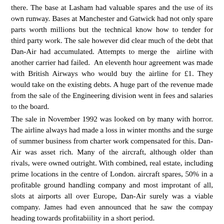there. The base at Lasham had valuable spares and the use of its own runway. Bases at Manchester and Gatwick had not only spare parts worth millions but the technical know how to tender for third party work. The sale however did clear much of the debt that Dan-Air had accumulated. Attempts to merge the airline with another carrier had failed. An eleventh hour agreement was made with British Airways who would buy the airline for £1. They would take on the existing debts. A huge part of the revenue made from the sale of the Engineering division went in fees and salaries to the board.
The sale in November 1992 was looked on by many with horror. The airline always had made a loss in winter months and the surge of summer business from charter work compensated for this. Dan-Air was asset rich. Many of the aircraft, although older than rivals, were owned outright. With combined, real estate, including prime locations in the centre of London. aircraft spares, 50% in a profitable ground handling company and most improtant of all, slots at airports all over Europe, Dan-Air surely was a viable company. James had even announced that he saw the compay heading towards profitabiility in a short period.
The company spirit that had endured throughout Dan-Air's history was quickly eroded. The staff were bitter. Not at Dan-Air, the company many people had forked for all their working lives. A company that had seen generations follow their parents into the airline. They were bitter at what had happened to them when the company was taken over. Dan-Air flew many